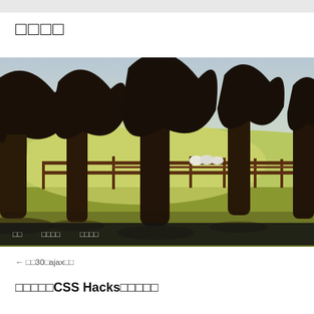□□□□
[Figure (photo): Scenic outdoor photograph showing a row of tall trees with bare upper branches along a wooden fence line. Green grass in foreground with bright misty background. Sheep visible in the middle distance.]
□□　□□□□　□□□□
← □□30□ajax□□
□□□□□CSS Hacks□□□□□